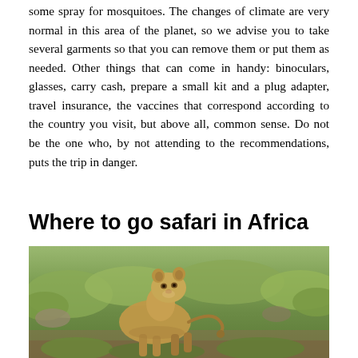some spray for mosquitoes. The changes of climate are very normal in this area of the planet, so we advise you to take several garments so that you can remove them or put them as needed. Other things that can come in handy: binoculars, glasses, carry cash, prepare a small kit and a plug adapter, travel insurance, the vaccines that correspond according to the country you visit, but above all, common sense. Do not be the one who, by not attending to the recommendations, puts the trip in danger.
Where to go safari in Africa
[Figure (photo): A lioness standing in scrubby African bush vegetation, looking toward the camera. The background shows green-yellow shrubs and rocky terrain.]